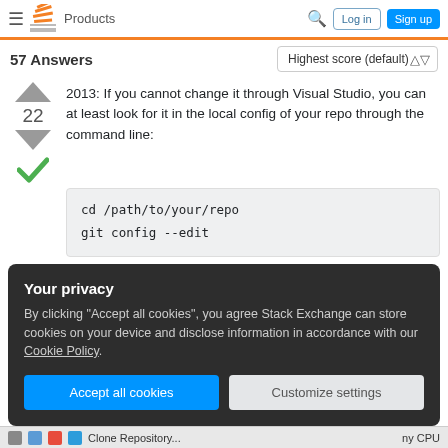≡ [Stack Overflow logo] Products 🔍 Log in Sign up
57 Answers  Highest score (default)
2013: If you cannot change it through Visual Studio, you can at least look for it in the local config of your repo through the command line:
cd /path/to/your/repo
git config --edit
And you would change it there.
Your privacy
By clicking "Accept all cookies", you agree Stack Exchange can store cookies on your device and disclose information in accordance with our Cookie Policy.
[Accept all cookies] [Customize settings]
Clone Repository...  ny CPU